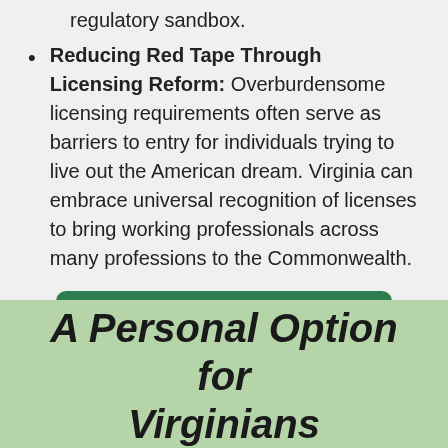regulatory sandbox.
Reducing Red Tape Through Licensing Reform: Overburdensome licensing requirements often serve as barriers to entry for individuals trying to live out the American dream. Virginia can embrace universal recognition of licenses to bring working professionals across many professions to the Commonwealth.
TAX REFORM FOR VIRGINIA
A Personal Option for Virginians